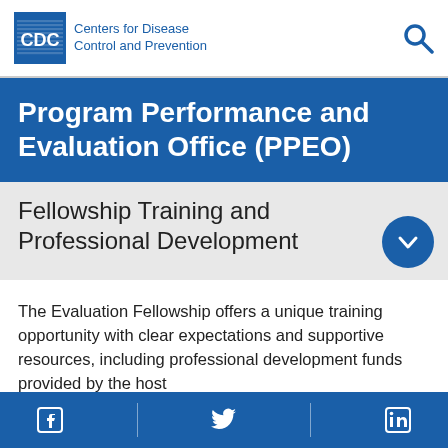Centers for Disease Control and Prevention
Program Performance and Evaluation Office (PPEO)
Fellowship Training and Professional Development
The Evaluation Fellowship offers a unique training opportunity with clear expectations and supportive resources, including professional development funds provided by the host
Facebook | Twitter | LinkedIn